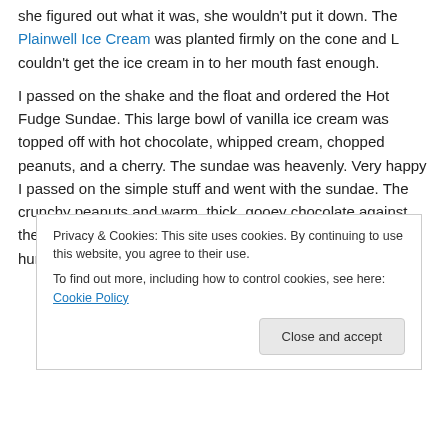she figured out what it was, she wouldn't put it down. The Plainwell Ice Cream was planted firmly on the cone and L couldn't get the ice cream in to her mouth fast enough.
I passed on the shake and the float and ordered the Hot Fudge Sundae. This large bowl of vanilla ice cream was topped off with hot chocolate, whipped cream, chopped peanuts, and a cherry. The sundae was heavenly. Very happy I passed on the simple stuff and went with the sundae. The crunchy peanuts and warm, thick, gooey chocolate against the cold ice cream and whipped cream was perfect on a humid, July afternoon.
Privacy & Cookies: This site uses cookies. By continuing to use this website, you agree to their use. To find out more, including how to control cookies, see here: Cookie Policy